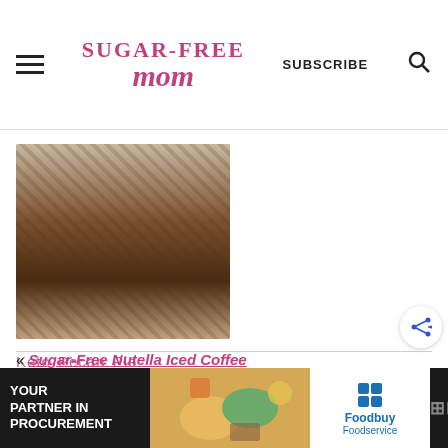Sugar-Free Mom | SUBSCRIBE
[Figure (photo): Stack of keto pecan pie brownies, showing chocolate layers with pecan topping]
Keto Pecan Pie Brownies
« Sugar-Free Nutella Iced Coffee
[Figure (infographic): Advertisement banner: YOUR PARTNER IN PROCUREMENT with Foodbuy Foodservice logo and puzzle piece image]